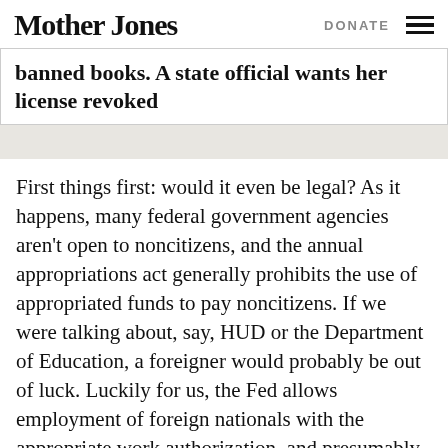Mother Jones   DONATE
banned books. A state official wants her license revoked
First things first: would it even be legal? As it happens, many federal government agencies aren't open to noncitizens, and the annual appropriations act generally prohibits the use of appropriated funds to pay noncitizens. If we were talking about, say, HUD or the Department of Education, a foreigner would probably be out of luck. Luckily for us, the Fed allows employment of foreign nationals with the appropriate work authorization, and presumably that wouldn't be too hard to get. So yes: